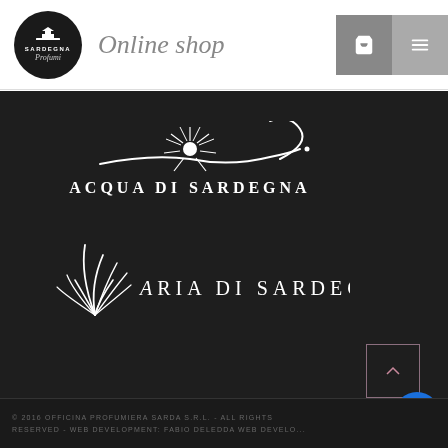[Figure (logo): Sardegna Profumi circular dark logo with building icon]
Online shop
[Figure (logo): Acqua di Sardegna brand logo with decorative sunburst and wave motif on dark background]
[Figure (logo): Aria di Sardegna brand logo with radiating feather/grass motif on dark background]
© 2016 OFFICINA PROFUMIERA SARDA S.R.L. - ALL RIGHTS RESERVED - WEB DEVELOPMENT: FABIO DELEDDA WEB DEVELOPMENT